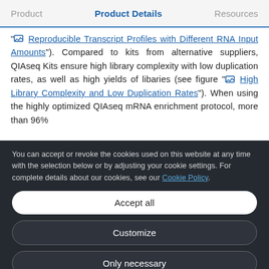Product | Product Details | Resources
"Reproducible Transcript Profiles with Different RNA Input Amounts"). Compared to kits from alternative suppliers, QIAseq Kits ensure high library complexity with low duplication rates, as well as high yields of libaries (see figure "High Library Complexity and Low Duplication Rates"). When using the highly optimized QIAseq mRNA enrichment protocol, more than 96%
You can accept or revoke the cookies used on this website at any time with the selection below or by adjusting your cookie settings. For complete details about our cookies, see our Cookie Policy.
Accept all
Customize
Only necessary